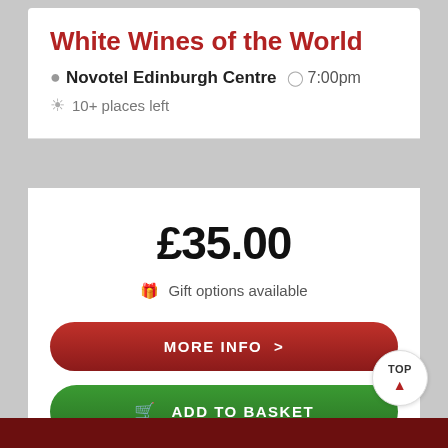White Wines of the World
Novotel Edinburgh Centre  7:00pm
10+ places left
£35.00
Gift options available
MORE INFO >
ADD TO BASKET
TOP